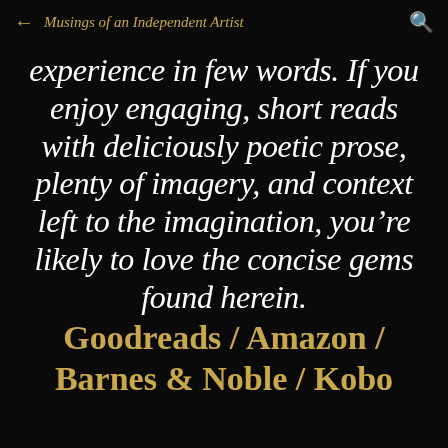← Musings of an Independent Artist 🔍
experience in few words. If you enjoy engaging, short reads with deliciously poetic prose, plenty of imagery, and context left to the imagination, you're likely to love the concise gems found herein.
Goodreads / Amazon / Barnes & Noble / Kobo